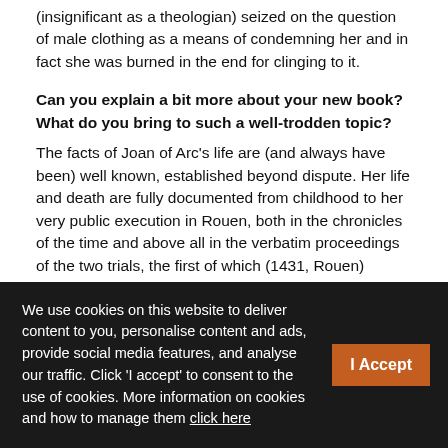(insignificant as a theologian) seized on the question of male clothing as a means of condemning her and in fact she was burned in the end for clinging to it.
Can you explain a bit more about your new book? What do you bring to such a well-trodden topic?
The facts of Joan of Arc's life are (and always have been) well known, established beyond dispute. Her life and death are fully documented from childhood to her very public execution in Rouen, both in the chronicles of the time and above all in the verbatim proceedings of the two trials, the first of which (1431, Rouen) condemned her and the second (1452-56, essentially appeal proceedings, with hearings held in Rouen, Domrémy, Orleans and Paris) which annulled the verdict of Rouen. I devote three chapters of the book specifically to the first trial and examine the second trial in
We use cookies on this website to deliver content to you, personalise content and ads, provide social media features, and analyse our traffic. Click 'I accept' to consent to the use of cookies. More information on cookies and how to manage them click here